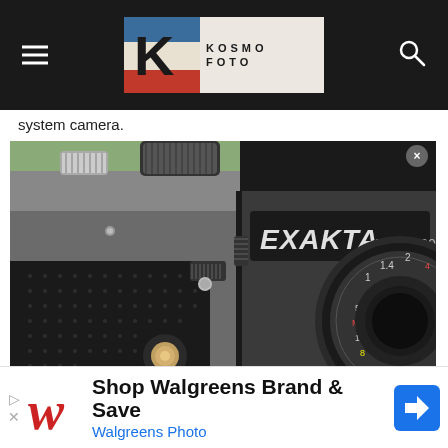Kosmo Foto
system camera.
[Figure (photo): Close-up photograph of an Exakta RTL 1000 film camera showing the camera body, lens with depth of field markings, and various controls including film advance lever and shutter release.]
Shop Walgreens Brand & Save Walgreens Photo